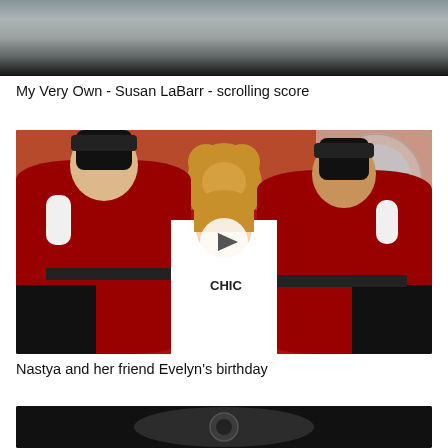[Figure (screenshot): Thumbnail of a video — dark/blurred image at top]
My Very Own - Susan LaBarr - scrolling score
[Figure (photo): Two men in red toy-soldier uniforms flanking a young girl wearing a shirt reading 'CHIC', surrounded by toys. A circular play button is overlaid in the center.]
Nastya and her friend Evelyn's birthday
[Figure (screenshot): Partial thumbnail — dark background with circular shape visible, bottom of page]